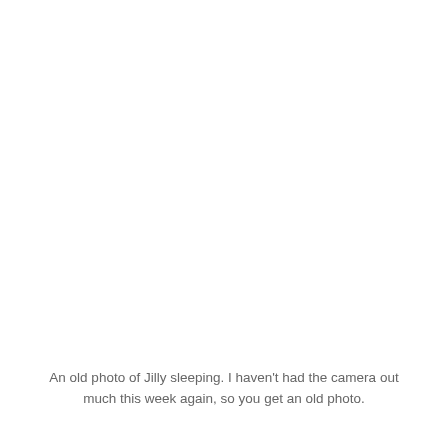[Figure (photo): An old photo of Jilly sleeping — the photo area appears blank/white in this rendering.]
An old photo of Jilly sleeping. I haven't had the camera out much this week again, so you get an old photo.